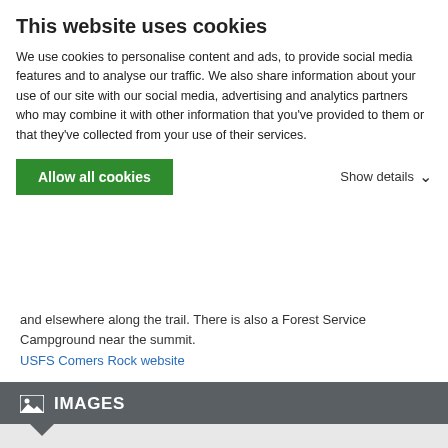This website uses cookies
We use cookies to personalise content and ads, to provide social media features and to analyse our traffic. We also share information about your use of our site with our social media, advertising and analytics partners who may combine it with other information that you've provided to them or that they've collected from your use of their services.
Allow all cookies | Show details
and elsewhere along the trail. There is also a Forest Service Campground near the summit.
USFS Comers Rock website
IMAGES
VIEW COMERS ROCK IMAGE GALLERY - 14 IMAGES
Geography